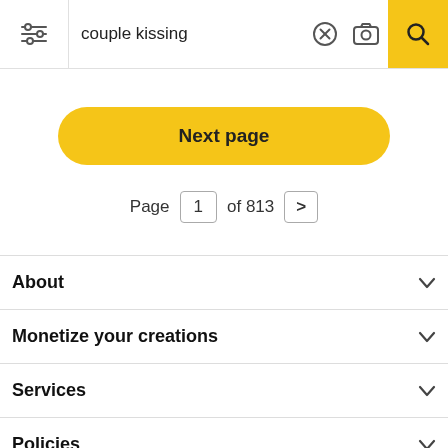[Figure (screenshot): Search bar with filter icon, text 'couple kissing', X button, camera icon, and yellow search button]
Next page
Page 1 of 813 >
About
Monetize your creations
Services
Policies
Support